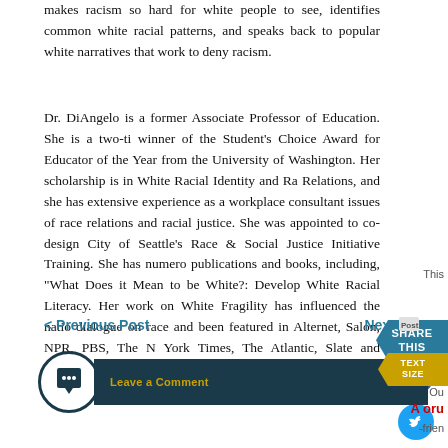makes racism so hard for white people to see, identifies common white racial patterns, and speaks back to popular white narratives that work to deny racism.
Dr. DiAngelo is a former Associate Professor of Education. She is a two-time winner of the Student's Choice Award for Educator of the Year from the University of Washington. Her scholarship is in White Racial Identity and Race Relations, and she has extensive experience as a workplace consultant on issues of race relations and racial justice. She was appointed to co-design the City of Seattle's Race & Social Justice Initiative Training. She has numerous publications and books, including, “What Does it Mean to be White?: Developing White Racial Literacy. Her work on White Fragility has influenced the national dialogue on race and been featured in Alternet, Salon, NPR, PBS, The New York Times, The Atlantic, Slate and Colorlines.
Tickets are going fast, so pick yours up at The Clyde or The Monra before they’re gone.
< Previous Post
Next Post >
Leave a Comment